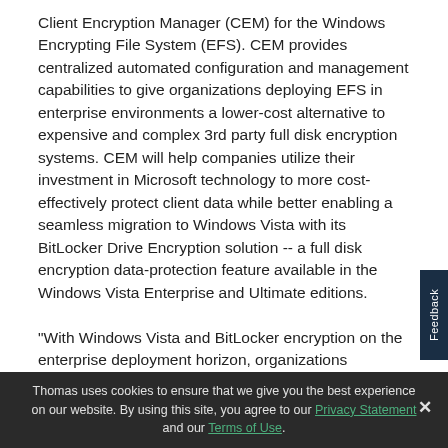Client Encryption Manager (CEM) for the Windows Encrypting File System (EFS). CEM provides centralized automated configuration and management capabilities to give organizations deploying EFS in enterprise environments a lower-cost alternative to expensive and complex 3rd party full disk encryption systems. CEM will help companies utilize their investment in Microsoft technology to more cost-effectively protect client data while better enabling a seamless migration to Windows Vista with its BitLocker Drive Encryption solution -- a full disk encryption data-protection feature available in the Windows Vista Enterprise and Ultimate editions.

"With Windows Vista and BitLocker encryption on the enterprise deployment horizon, organizations considering proprietary full disk encryption tools should assess whether
Feedback
Thomas uses cookies to ensure that we give you the best experience on our website. By using this site, you agree to our Privacy Statement and our Terms of Use.